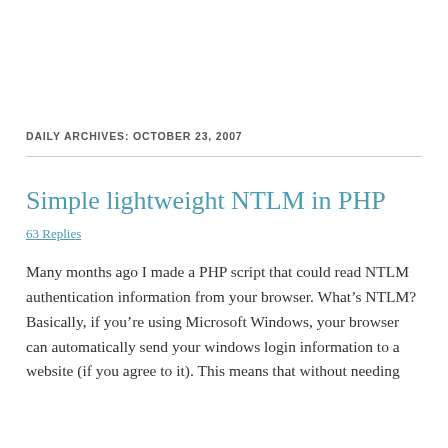DAILY ARCHIVES: OCTOBER 23, 2007
Simple lightweight NTLM in PHP
63 Replies
Many months ago I made a PHP script that could read NTLM authentication information from your browser. What’s NTLM? Basically, if you’re using Microsoft Windows, your browser can automatically send your windows login information to a website (if you agree to it). This means that without needing